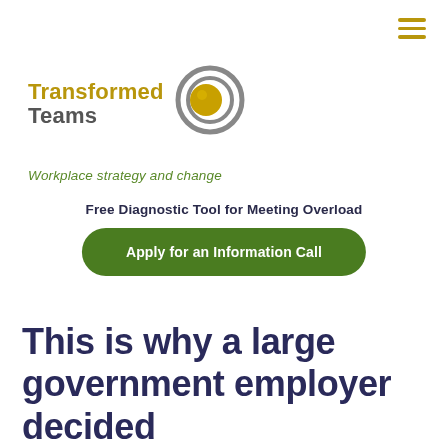[Figure (logo): Transformed Teams logo with golden/grey concentric circle icon and text 'Transformed Teams']
Workplace strategy and change
Free Diagnostic Tool for Meeting Overload
Apply for an Information Call
This is why a large government employer decided